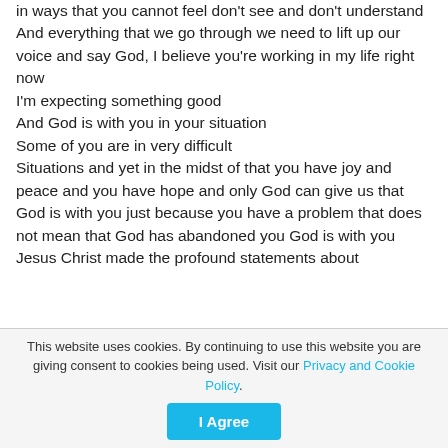in ways that you cannot feel don't see and don't understand
And everything that we go through we need to lift up our voice and say God, I believe you're working in my life right now
I'm expecting something good
And God is with you in your situation
Some of you are in very difficult
Situations and yet in the midst of that you have joy and peace and you have hope and only God can give us that
God is with you just because you have a problem that does not mean that God has abandoned you God is with you
Jesus Christ made the profound statements about
This website uses cookies. By continuing to use this website you are giving consent to cookies being used. Visit our Privacy and Cookie Policy.